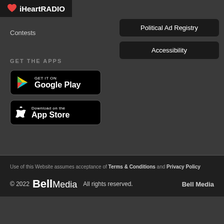[Figure (logo): iHeartRADIO logo with heart icon on dark background]
Contests
Political Ad Registry
Accessibility
GET THE APPS
[Figure (logo): Get it on Google Play badge]
[Figure (logo): Download on the App Store badge]
Use of this Website assumes acceptance of Terms & Conditions and Privacy Policy
© 2022 Bell Media All rights reserved. Bell Media